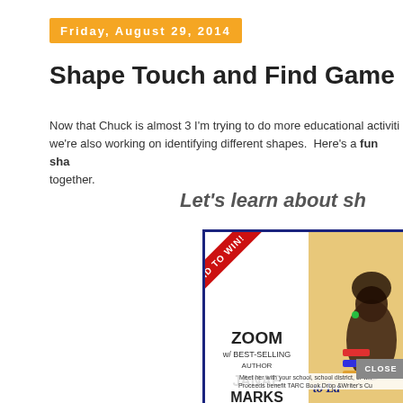Friday, August 29, 2014
Shape Touch and Find Game
Now that Chuck is almost 3 I'm trying to do more educational activities we're also working on identifying different shapes. Here's a fun sha together.
Let's learn about sh
[Figure (advertisement): Advertisement popup for Zoom with Best-Selling Author Janae Marks, with a red diagonal BID TO WIN ribbon, alongside a book cover image showing 'Soft A' in blue text on an illustrated background, with a CLOSE button.]